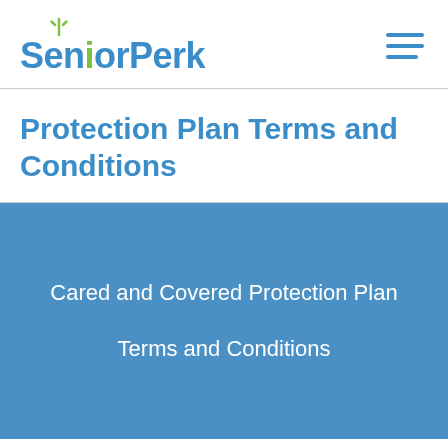[Figure (logo): SeniorPerk logo with green sunburst icon above text and blue wordmark, plus hamburger menu icon on the right]
Protection Plan Terms and Conditions
Cared and Covered Protection Plan
Terms and Conditions